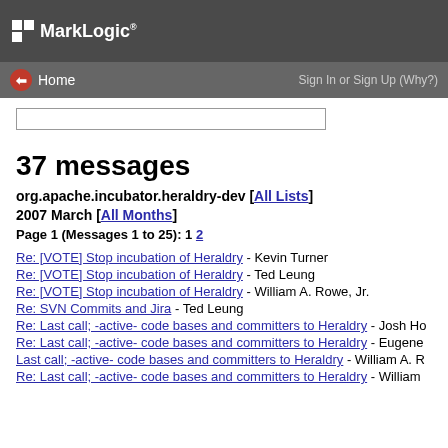MarkLogic
Home | Sign In or Sign Up (Why?)
37 messages
org.apache.incubator.heraldry-dev [All Lists]
2007 March [All Months]
Page 1 (Messages 1 to 25): 1 2
Re: [VOTE] Stop incubation of Heraldry - Kevin Turner
Re: [VOTE] Stop incubation of Heraldry - Ted Leung
Re: [VOTE] Stop incubation of Heraldry - William A. Rowe, Jr.
Re: SVN Commits and Jira - Ted Leung
Re: Last call; -active- code bases and committers to Heraldry - Josh Ho
Re: Last call; -active- code bases and committers to Heraldry - Eugene
Last call; -active- code bases and committers to Heraldry - William A. R
Re: Last call; -active- code bases and committers to Heraldry - William